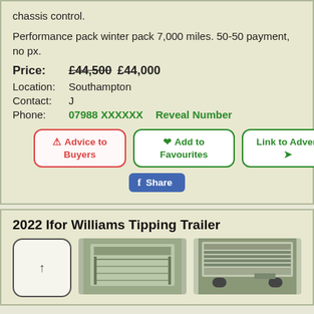chassis control.
Performance pack winter pack 7,000 miles. 50-50 payment, no px.
Price: £44,500 £44,000
Location: Southampton
Contact: J
Phone: 07988 XXXXXX   Reveal Number
[Figure (other): Advice to Buyers button (red border), Add to Favourites button (green border), Link to Advert button (green border)]
[Figure (other): Facebook Share button]
2022 Ifor Williams Tipping Trailer
[Figure (photo): Thumbnail placeholder box with up arrow, and two photos of an Ifor Williams tipping trailer]